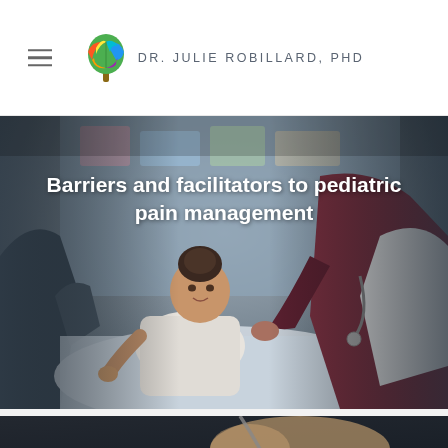DR. JULIE ROBILLARD, PHD
[Figure (photo): Child patient lying in hospital bed, being examined by medical professionals. A young girl in white clothing looks up at a healthcare provider in dark scrubs while another provider in white coat is present. Hospital room setting with colorful background.]
Barriers and facilitators to pediatric pain management
[Figure (photo): A teddy bear with a stethoscope in a dark setting, partially visible at the bottom of the page.]